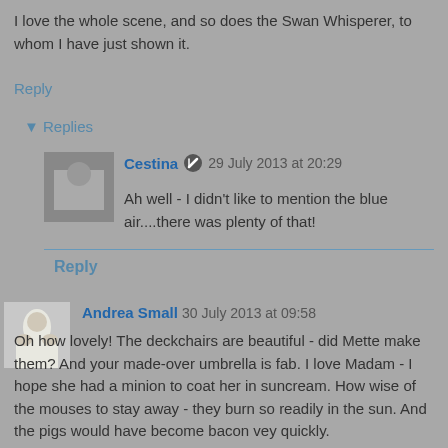I love the whole scene, and so does the Swan Whisperer, to whom I have just shown it.
Reply
▾ Replies
Cestina 🔧 29 July 2013 at 20:29
Ah well - I didn't like to mention the blue air....there was plenty of that!
Reply
Andrea Small  30 July 2013 at 09:58
Oh how lovely! The deckchairs are beautiful - did Mette make them? And your made-over umbrella is fab. I love Madam - I hope she had a minion to coat her in suncream. How wise of the mouses to stay away - they burn so readily in the sun. And the pigs would have become bacon vey quickly.